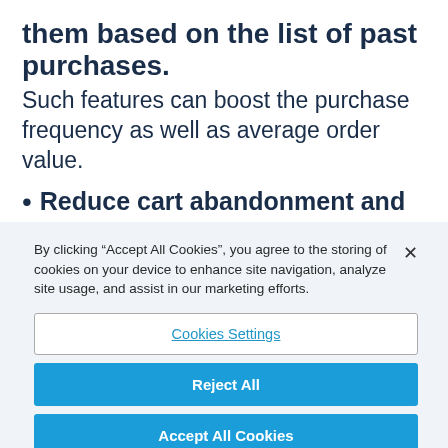them based on the list of past purchases.
Such features can boost the purchase frequency as well as average order value.
Reduce cart abandonment and improve customer retention by streamlining your checkout flow. Offering
By clicking “Accept All Cookies”, you agree to the storing of cookies on your device to enhance site navigation, analyze site usage, and assist in our marketing efforts.
Cookies Settings
Reject All
Accept All Cookies